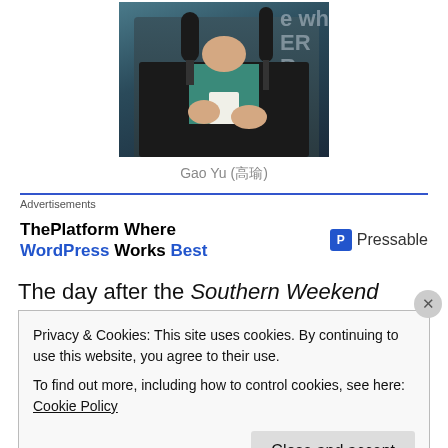[Figure (photo): A person holding a microphone and a white cup, speaking at what appears to be a press conference or panel. Blue background with partial text visible on right side.]
Gao Yu (高瑜)
Advertisements
ThePlatform Where WordPress Works Best   P Pressable
The day after the Southern Weekend incident broke on
Privacy & Cookies: This site uses cookies. By continuing to use this website, you agree to their use.
To find out more, including how to control cookies, see here: Cookie Policy
Close and accept